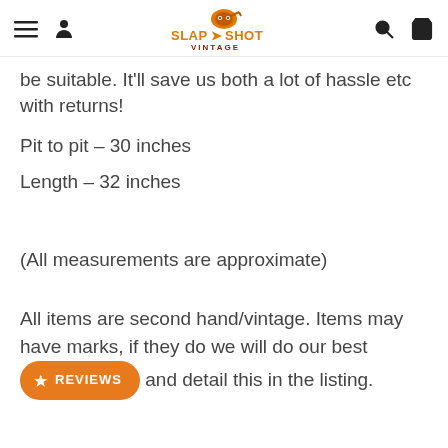Slapshot Vintage — navigation header with hamburger, user, search, and cart icons
be suitable. It'll save us both a lot of hassle etc with returns!
Pit to pit – 30 inches
Length – 32 inches
(All measurements are approximate)
All items are second hand/vintage. Items may have marks, if they do we will do our best and detail this in the listing.